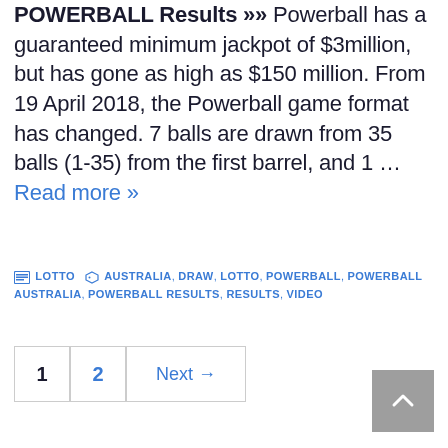POWERBALL Results »» Powerball has a guaranteed minimum jackpot of $3million, but has gone as high as $150 million. From 19 April 2018, the Powerball game format has changed. 7 balls are drawn from 35 balls (1-35) from the first barrel, and 1 … Read more »
LOTTO | AUSTRALIA, DRAW, LOTTO, POWERBALL, POWERBALL AUSTRALIA, POWERBALL RESULTS, RESULTS, VIDEO
1  2  Next →